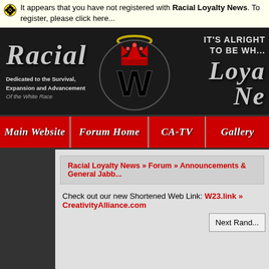It appears that you have not registered with Racial Loyalty News. To register, please click here...
[Figure (screenshot): Racial Loyalty News website banner with blackletter gothic title, circle W logo with crown, and tagline 'Dedicated to the Survival, Expansion and Advancement Of the White Race'. Right side says 'IT'S ALRIGHT TO BE WH...' and shows 'Loya...' and 'Ne...' in gothic text.]
[Figure (screenshot): Red navigation bar with gothic-style white text menu items: Main Website, Forum Home, CA-TV, Gallery]
Racial Loyalty News » Forum » Announcements & General Jabb...
Check out our new Shortened Web Link: W23.link » CreativityAlliance.com
Next Rand...